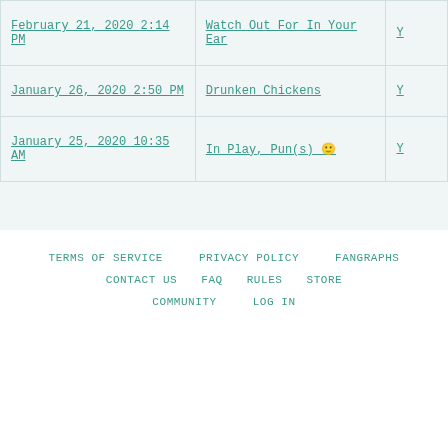| Date | Title | Link |
| --- | --- | --- |
| February 21, 2020 2:14 PM | Watch Out For In Your Ear | Y... |
| January 26, 2020 2:50 PM | Drunken Chickens | Y... |
| January 25, 2020 10:35 AM | In Play, Pun(s) 🙂 | Y... |
TERMS OF SERVICE   PRIVACY POLICY   FANGRAPHS   CONTACT US   FAQ   RULES   STORE   COMMUNITY   LOG IN